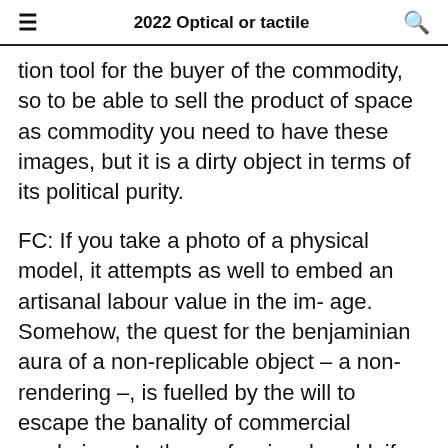2022 Optical or tactile
tion tool for the buyer of the commodity, so to be able to sell the product of space as commodity you need to have these images, but it is a dirty object in terms of its political purity.
FC: If you take a photo of a physical model, it attempts as well to embed an artisanal labour value in the im- age. Somehow, the quest for the benjaminian aura of a non-replicable object – a non-rendering –, is fuelled by the will to escape the banality of commercial renderings. In the professional world, if you want to sell a project with an image you don't need something